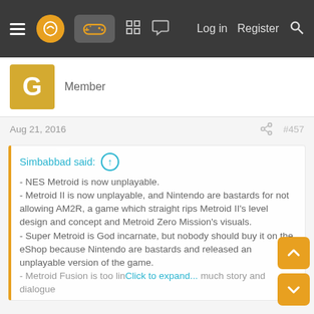Navigation bar with hamburger menu, logo, controller icon, grid icon, chat icon, Log in, Register, Search
Member
Aug 21, 2016   #457
Simbabbad said: ↑
- NES Metroid is now unplayable.
- Metroid II is now unplayable, and Nintendo are bastards for not allowing AM2R, a game which straight rips Metroid II's level design and concept and Metroid Zero Mission's visuals.
- Super Metroid is God incarnate, but nobody should buy it on the eShop because Nintendo are bastards and released an unplayable version of the game.
- Metroid Fusion is too lin... ...much story and dialogue
Click to expand...
The majority of Metroid fans love all the games except Other M. The criticisms you've typed out here, while indeed common, are simply used to 'order' the games in terms of quality, rather than say they're shit.